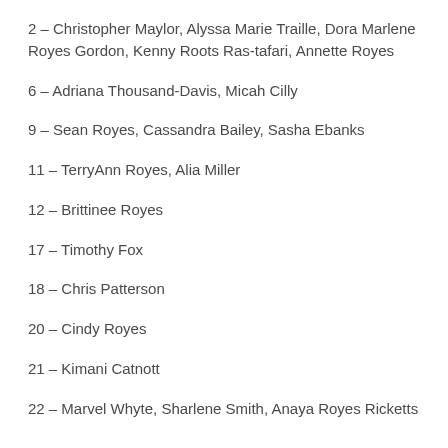2 – Christopher Maylor, Alyssa Marie Traille, Dora Marlene Royes Gordon, Kenny Roots Ras-tafari, Annette Royes
6 – Adriana Thousand-Davis, Micah Cilly
9 – Sean Royes, Cassandra Bailey, Sasha Ebanks
11 – TerryAnn Royes, Alia Miller
12 – Brittinee Royes
17 – Timothy Fox
18 – Chris Patterson
20 – Cindy Royes
21 – Kimani Catnott
22 – Marvel Whyte, Sharlene Smith, Anaya Royes Ricketts